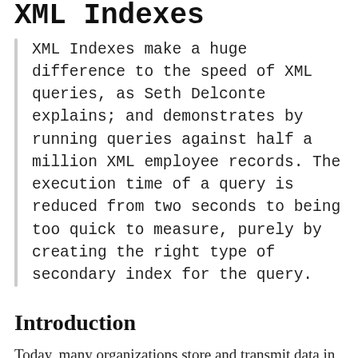XML Indexes
XML Indexes make a huge difference to the speed of XML queries, as Seth Delconte explains; and demonstrates by running queries against half a million XML employee records. The execution time of a query is reduced from two seconds to being too quick to measure, purely by creating the right type of secondary index for the query.
Introduction
Today, many organizations store and transmit data in an XML data format. Because of the ubiquity and readability of the XML format, it has become convenient and popular to both consume and provide data using XML. Because XML data is used